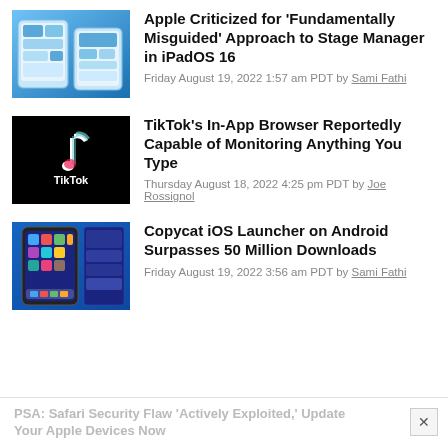[Figure (photo): iPadOS screenshot showing Stage Manager feature]
Apple Criticized for 'Fundamentally Misguided' Approach to Stage Manager in iPadOS 16
Friday August 19, 2022 1:57 am PDT by Sami Fathi
[Figure (logo): TikTok logo — black background with white TikTok musical note icon and 'TikTok' text]
TikTok's In-App Browser Reportedly Capable of Monitoring Anything You Type
Thursday August 18, 2022 4:25 pm PDT by Joe Rossignol
[Figure (screenshot): Screenshot of copycat iOS launcher running on Android device]
Copycat iOS Launcher on Android Surpasses 50 Million Downloads
Friday August 19, 2022 3:56 am PDT by Sami Fathi
PSA: Safari Security Flaw 'Actively Exploited,' Update Your Apple Devices Now